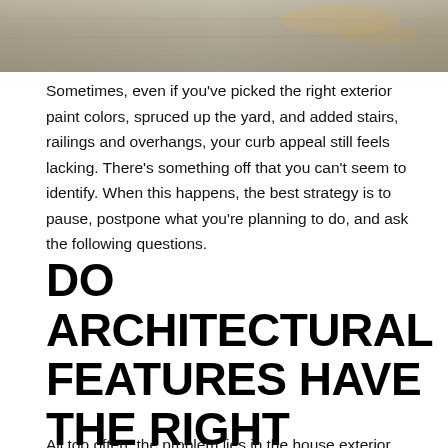[Figure (photo): Outdoor scene, close-up of a surface (appears to be pavement or ground) with warm tones, cropped at top of page]
Sometimes, even if you've picked the right exterior paint colors, spruced up the yard, and added stairs, railings and overhangs, your curb appeal still feels lacking. There's something off that you can't seem to identify. When this happens, the best strategy is to pause, postpone what you're planning to do, and ask the following questions.
DO ARCHITECTURAL FEATURES HAVE THE RIGHT SCALE AND STYLE?
All too often, the problem lies in the house exterior details not